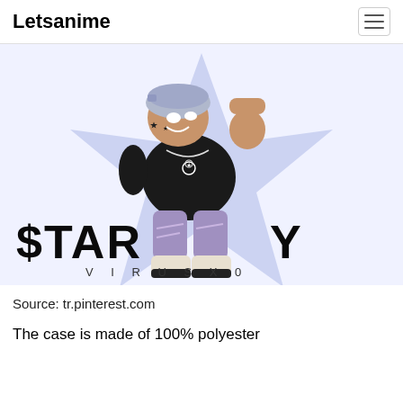Letsanime
[Figure (illustration): Anime-style cartoon character in black clothes with blue-purple hair and cap, posed dynamically over a light blue star shape. Text reads 'STARBOY VIIRUS X00' in large block letters at the bottom.]
Source: tr.pinterest.com
The case is made of 100% polyester